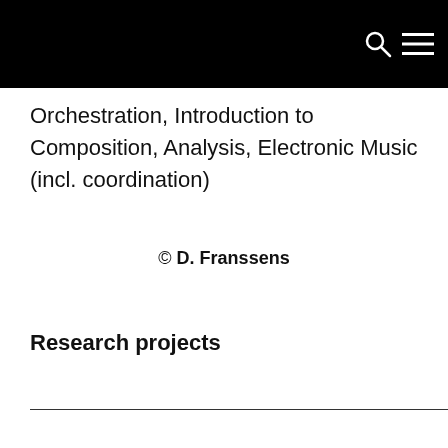Orchestration, Introduction to Composition, Analysis, Electronic Music (incl. coordination)
© D. Franssens
Research projects